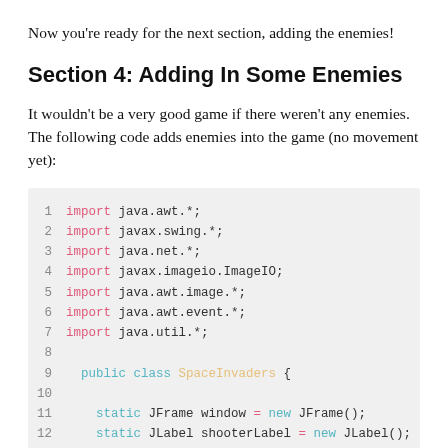Now you're ready for the next section, adding the enemies!
Section 4: Adding In Some Enemies
It wouldn't be a very good game if there weren't any enemies. The following code adds enemies into the game (no movement yet):
[Figure (screenshot): Java code block showing lines 1-14 of SpaceInvaders class with import statements, class declaration, and static field declarations. Keywords are syntax-highlighted in pink/cyan.]